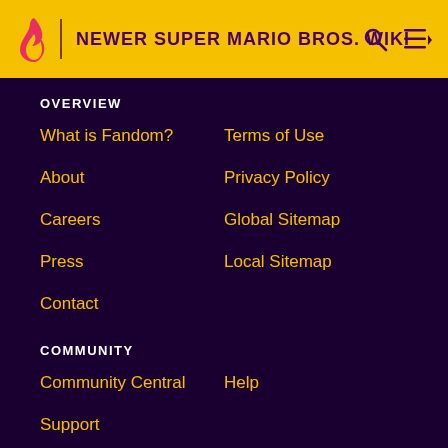NEWER SUPER MARIO BROS. WIKI
OVERVIEW
What is Fandom?
Terms of Use
About
Privacy Policy
Careers
Global Sitemap
Press
Local Sitemap
Contact
COMMUNITY
Community Central
Help
Support
ADVERTISE